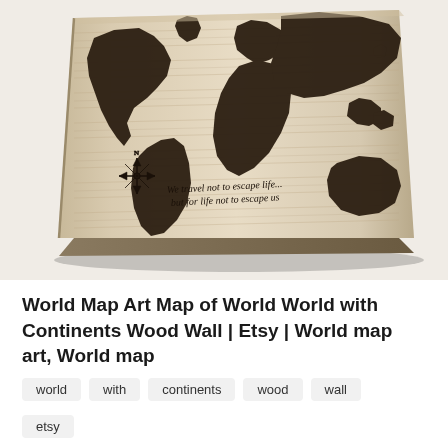[Figure (photo): A wooden wall art piece showing a world map with dark-stained continents on a light wood grain background. A compass rose is visible in the lower left, and a cursive quote reads 'We travel not to escape life... but for life not to escape us'. The board is photographed at a slight angle showing its three-dimensional depth.]
World Map Art Map of World World with Continents Wood Wall | Etsy | World map art, World map
world
with
continents
wood
wall
etsy